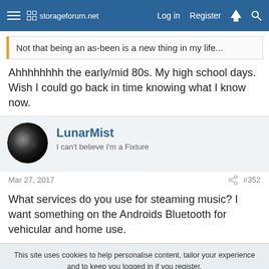storageforum.net  Log in  Register
Not that being an as-been is a new thing in my life...
Ahhhhhhhh the early/mid 80s. My high school days. Wish I could go back in time knowing what I know now.
LunarMist
I can't believe I'm a Fixture
Mar 27, 2017  #352
What services do you use for steaming music? I want something on the Androids Bluetooth for vehicular and home use.
This site uses cookies to help personalise content, tailor your experience and to keep you logged in if you register.
By continuing to use this site, you are consenting to our use of cookies.